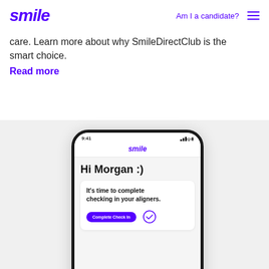smile | Am I a candidate? ☰
care. Learn more about why SmileDirectClub is the smart choice.
Read more
[Figure (screenshot): Screenshot of the Smile app on a smartphone showing a greeting 'Hi Morgan :)' and a card that reads 'It's time to complete checking in your aligners.' with a 'Complete Check In' button and a checkmark icon.]